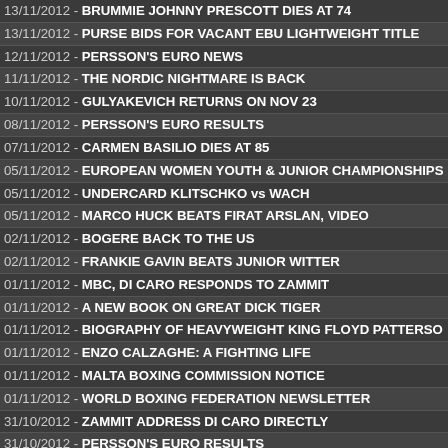13/11/2012 - BRUMMIE JOHNNY PRESCOTT DIES AT 74
13/11/2012 - PURSE BIDS FOR VACANT EBU LIGHTWEIGHT TITLE
12/11/2012 - PERSSON'S EURO NEWS
11/11/2012 - THE NORDIC NIGHTMARE IS BACK
10/11/2012 - GULYAKEVICH RETURNS ON NOV 23
08/11/2012 - PERSSON'S EURO RESULTS
07/11/2012 - CARMEN BASILIO DIES AT 85
05/11/2012 - EUROPEAN WOMEN YOUTH & JUNIOR CHAMPIONSHIPS
05/11/2012 - UNDERCARD KLITSCHKO vs WACH
05/11/2012 - MARCO HUCK BEATS FIRAT ARSLAN, VIDEO
02/11/2012 - BOGERE BACK TO THE US
02/11/2012 - FRANKIE GAVIN BEATS JUNIOR WITTER
01/11/2012 - MBC, DI CARO RESPONDS TO ZAMMIT
01/11/2012 - A NEW BOOK ON GREAT DICK TIGER
01/11/2012 - BIOGRAPHY OF HEAVYWEIGHT KING FLOYD PATTERSON
01/11/2012 - ENZO CALZAGHE: A FIGHTING LIFE
01/11/2012 - MALTA BOXING COMMISSION NOTICE
01/11/2012 - WORLD BOXING FEDERATION NEWSLETTER
31/10/2012 - ZAMMIT ADDRESS DI CARO DIRECTLY
31/10/2012 - PERSSON'S EURO RESULTS
31/10/2012 - HASKINS vs JAMOYE
31/10/2012 - MALTA BOXING COMMISSION ANNOUNCEMENT
31/10/2012 - MBC PRESIDENT DENIES HE HAS BEEN REMOVED
31/10/2012 - THE WBC PLANS AMATAUR TOURNAMENT IN USA
26/10/2012 - MALTA BOXING COMMISSION REVOKES PRESIDENTS P
26/10/2012 - EMANUEL STEWARD, LEGENDARY BOXING TRAINER, D
26/10/2012 - PERSSON'S EURO NEWS AND RESULTS